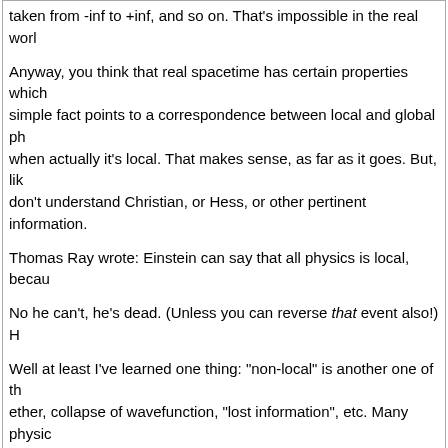taken from -inf to +inf, and so on. That's impossible in the real world
Anyway, you think that real spacetime has certain properties which simple fact points to a correspondence between local and global ph when actually it's local. That makes sense, as far as it goes. But, like don't understand Christian, or Hess, or other pertinent information.
Thomas Ray wrote: Einstein can say that all physics is local, becau
No he can't, he's dead. (Unless you can reverse that event also!) H
Well at least I've learned one thing: "non-local" is another one of the ether, collapse of wavefunction, "lost information", etc. Many physic All that actually matters - to me, anyway - is results of experiments,
Excellent post, secur.
We agree on the nature of theory. It is precisely because theory is (s physically false and incomplete. The THEOREM is logically sound, b therefore does not correspond to the mathematics. It can't, because experiment. So when one starts with a mathematical inequality, and does not suffer that defect; E = mc^2 is always completely realizable,